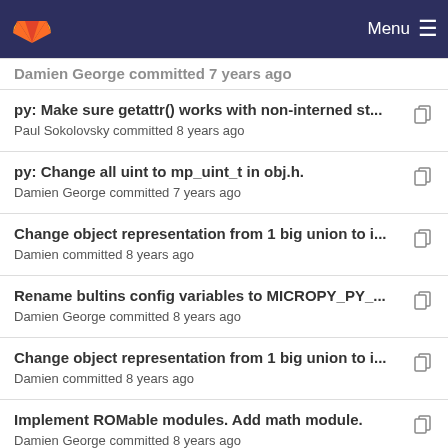GitLab — Menu
Damien George committed 7 years ago (partial, scrolled)
py: Make sure getattr() works with non-interned st... — Paul Sokolovsky committed 8 years ago
py: Change all uint to mp_uint_t in obj.h. — Damien George committed 7 years ago
Change object representation from 1 big union to i... — Damien committed 8 years ago
Rename bultins config variables to MICROPY_PY_... — Damien George committed 8 years ago
Change object representation from 1 big union to i... — Damien committed 8 years ago
Implement ROMable modules. Add math module. — Damien George committed 8 years ago
Change object representation from 1 big union to i... (partial, scrolled off)